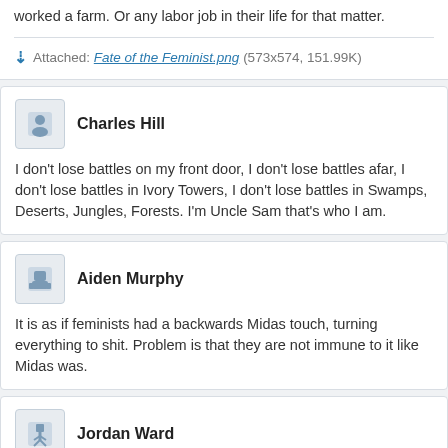worked a farm. Or any labor job in their life for that matter.
Attached: Fate of the Feminist.png (573x574, 151.99K)
Charles Hill
I don't lose battles on my front door, I don't lose battles afar, I don't lose battles in Ivory Towers, I don't lose battles in Swamps, Deserts, Jungles, Forests. I'm Uncle Sam that's who I am.
Aiden Murphy
It is as if feminists had a backwards Midas touch, turning everything to shit. Problem is that they are not immune to it like Midas was.
Jordan Ward